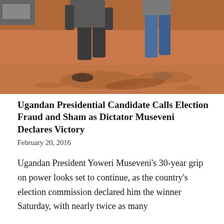[Figure (photo): Two people walking on red/orange dirt ground, one in dark clothes and one in blue jeans, shot from the waist down. Strong shadows visible on the dusty ground.]
Ugandan Presidential Candidate Calls Election Fraud and Sham as Dictator Museveni Declares Victory
February 20, 2016
Ugandan President Yoweri Museveni’s 30-year grip on power looks set to continue, as the country’s election commission declared him the winner Saturday, with nearly twice as many